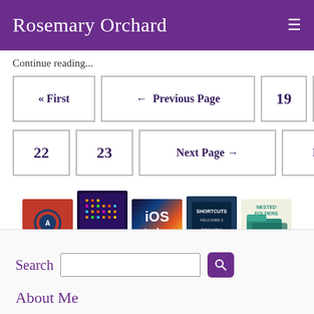Rosemary Orchard
Continue reading...
« First  ← Previous Page  19  20  21
22  23  Next Page →  Last »
[Figure (illustration): Five book/podcast cover images in a row: Automators (red), OmniFocus Workflow (dark purple/orange), iOS today (colorful gradient), Shortcuts (dark blue), Nested Folders (light with teal folder)]
Search
About Me